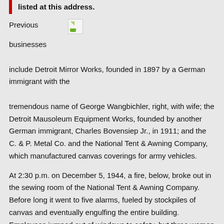listed at this address.
[Figure (photo): Broken image placeholder next to 'Previous' label]
Previous businesses include Detroit Mirror Works, founded in 1897 by a German immigrant with the tremendous name of George Wangbichler, right, with wife; the Detroit Mausoleum Equipment Works, founded by another German immigrant, Charles Bovensiep Jr., in 1911; and the C. & P. Metal Co. and the National Tent & Awning Company, which manufactured canvas coverings for army vehicles.
At 2:30 p.m. on December 5, 1944, a fire, below, broke out in the sewing room of the National Tent & Awning Company. Before long it went to five alarms, fueled by stockpiles of canvas and eventually engulfing the entire building. Employees jumped out of windows to safety, but three women died in the blaze.